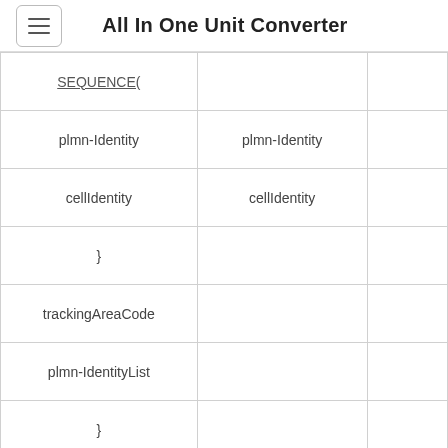All In One Unit Converter
| SEQUENCE( |  |  |
| plmn-Identity | plmn-Identity |  |
| cellIdentity | cellIdentity |  |
| } |  |  |
| trackingAreaCode |  |  |
| plmn-IdentityList |  |  |
| } |  |  |